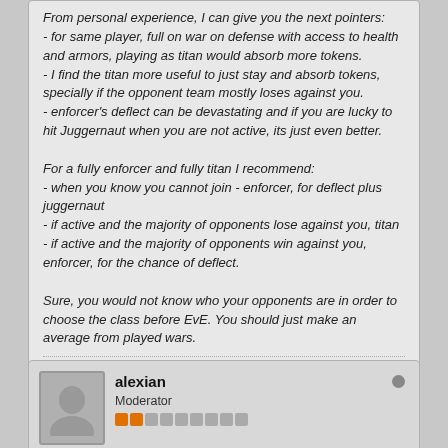From personal experience, I can give you the next pointers:
- for same player, full on war on defense with access to health and armors, playing as titan would absorb more tokens.
- I find the titan more useful to just stay and absorb tokens, specially if the opponent team mostly loses against you.
- enforcer's deflect can be devastating and if you are lucky to hit Juggernaut when you are not active, its just even better.

For a fully enforcer and fully titan I recommend:
- when you know you cannot join - enforcer, for deflect plus juggernaut
- if active and the majority of opponents lose against you, titan
- if active and the majority of opponents win against you, enforcer, for the chance of deflect.

Sure, you would not know who your opponents are in order to choose the class before EvE. You should just make an average from played wars.
They mostly win he is a little guy 300ish
alexian
Moderator